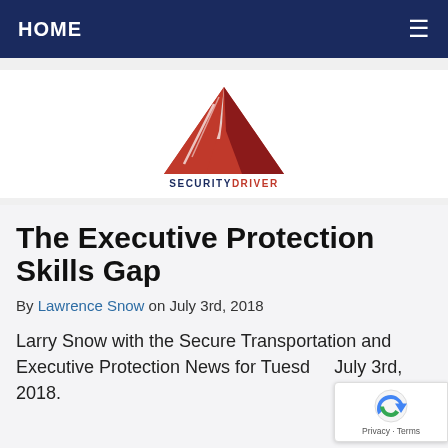HOME
[Figure (logo): SecurityDriver logo: red triangular geometric shape above the text SECURITYDRIVER in navy and red]
The Executive Protection Skills Gap
By Lawrence Snow on July 3rd, 2018
Larry Snow with the Secure Transportation and Executive Protection News for Tuesday July 3rd, 2018.